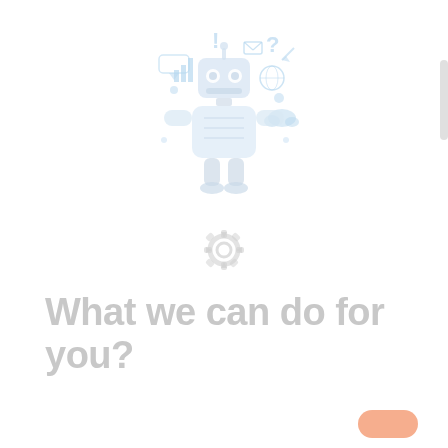[Figure (illustration): A light blue/white robot illustration with surrounding icons (exclamation mark, question mark, email, chart, globe, cloud, speech bubble, etc.) on a white background, rendered in very light pastel colors]
[Figure (illustration): A gear/settings icon rendered in light gray, centered on the page below the robot illustration]
What we can do for you?